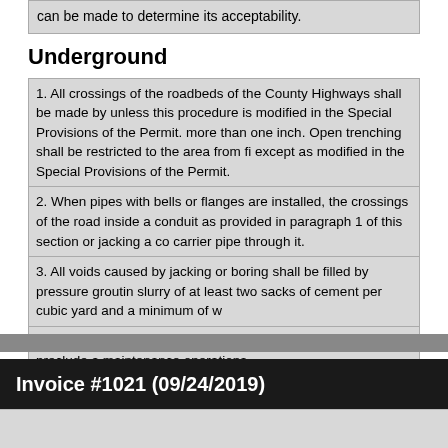can be made to determine its acceptability.
Underground
1. All crossings of the roadbeds of the County Highways shall be made by unless this procedure is modified in the Special Provisions of the Permit. more than one inch. Open trenching shall be restricted to the area from fi except as modified in the Special Provisions of the Permit.
2. When pipes with bells or flanges are installed, the crossings of the road inside a conduit as provided in paragraph 1 of this section or jacking a co carrier pipe through it.
3. All voids caused by jacking or boring shall be filled by pressure grouting slurry of at least two sacks of cement per cubic yard and a minimum of w
4. The underground utilities shall be so installed as virtually to preclude a maintenance operations.
5. Underground installations shall be accomplished without damaging or trees.
Invoice #1021 (09/24/2019)